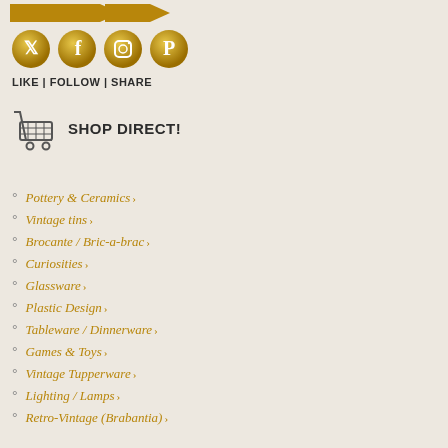[Figure (logo): Partial logo with arrow graphic at top left]
[Figure (infographic): Four gold circular social media icons: Twitter, Facebook, Instagram, Pinterest]
LIKE | FOLLOW | SHARE
[Figure (infographic): Shopping cart icon with text SHOP DIRECT!]
Pottery & Ceramics >
Vintage tins >
Brocante / Bric-a-brac >
Curiosities >
Glassware >
Plastic Design >
Tableware / Dinnerware >
Games & Toys >
Vintage Tupperware >
Lighting / Lamps >
Retro-Vintage (Brabantia) >